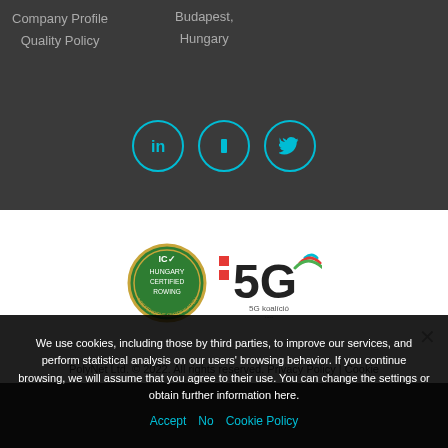Company Profile
Quality Policy
Budapest,
Hungary
[Figure (other): Three social media icon circles (LinkedIn, Facebook/generic, Twitter) with teal/cyan outlines]
[Figure (logo): IC Hungary Certified Partner badge (green circular seal) and :5G coalition logo]
PolyNet Ltd. © 2022. All rights reserved. Privacy Policy | Cookie
We use cookies, including those by third parties, to improve our services, and perform statistical analysis on our users' browsing behavior. If you continue browsing, we will assume that you agree to their use. You can change the settings or obtain further information here.
Accept  No  Cookie Policy